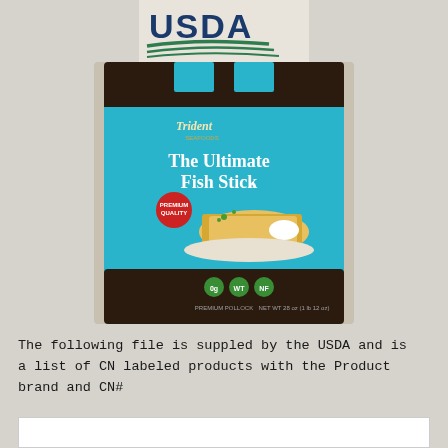[Figure (logo): USDA logo - blue letters USDA with green swoosh lines below on white/beige background]
[Figure (photo): Trident brand 'The Ultimate Fish Stick' product bag - teal/turquoise package with golden fish sticks on a plate, dark brown top and bottom panels]
The following file is suppled by the USDA and is a list of CN labeled products with the Product brand and CN#